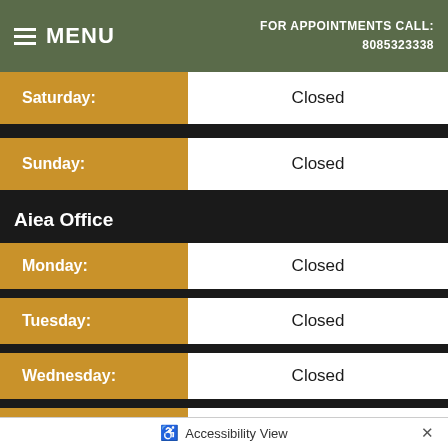MENU | FOR APPOINTMENTS CALL: 8085323338
| Day | Hours |
| --- | --- |
| Saturday: | Closed |
| Sunday: | Closed |
Aiea Office
| Day | Hours |
| --- | --- |
| Monday: | Closed |
| Tuesday: | Closed |
| Wednesday: | Closed |
| Thursday: | Closed |
| Friday: | 8:00 am - 4:00pm |
Accessibility View